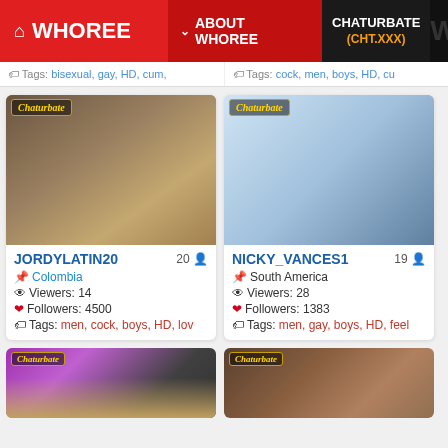WHOREE | ABOUT WHOREE | CHATURBATE (CHT.XXX)
Tags: bisexual, gay, HD, cum, | Tags: cock, men, boys, HD, cu
[Figure (photo): Chaturbate stream thumbnail of JORDYLATIN20, male with tattoos wearing black, seated]
JORDYLATIN20 | Age: 20 | Colombia | Viewers: 14 | Followers: 4500 | Tags: men, cock, boys, HD, lov
[Figure (photo): Chaturbate stream thumbnail of NICKY_VANCES1, young male in blue shirt seated on bed]
NICKY_VANCES1 | Age: 19 | South America | Viewers: 28 | Followers: 1383 | Tags: men, gay, boys, HD, feel
[Figure (photo): Partial Chaturbate stream thumbnail, purple/pink background with person wearing cap]
[Figure (photo): Partial Chaturbate stream thumbnail, person taking selfie in mirror]